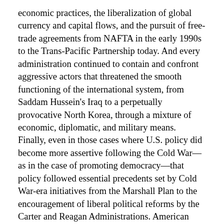economic practices, the liberalization of global currency and capital flows, and the pursuit of free-trade agreements from NAFTA in the early 1990s to the Trans-Pacific Partnership today. And every administration continued to contain and confront aggressive actors that threatened the smooth functioning of the international system, from Saddam Hussein's Iraq to a perpetually provocative North Korea, through a mixture of economic, diplomatic, and military means. Finally, even in those cases where U.S. policy did become more assertive following the Cold War—as in the case of promoting democracy—that policy followed essential precedents set by Cold War-era initiatives from the Marshall Plan to the encouragement of liberal political reforms by the Carter and Reagan Administrations. American statecraft from the early 1990s onward did not break sharply with the past; it simply built upon the foundations laid by a successful, multi-decade postwar grand strategy.
Of course, none of this is to say that there was no change in American strategy after the Cold War, or that there was perfect consistency across post-Cold War